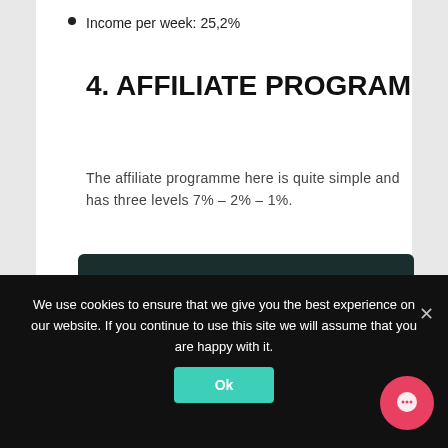Income per week: 25,2%
4. AFFILIATE PROGRAM
The affiliate programme here is quite simple and has three levels 7% – 2% – 1%.
[Figure (screenshot): Dark teal card showing 'Affiliate Program' with icon and subtitle 'Earn extra money with our affiliate program']
We use cookies to ensure that we give you the best experience on our website. If you continue to use this site we will assume that you are happy with it.